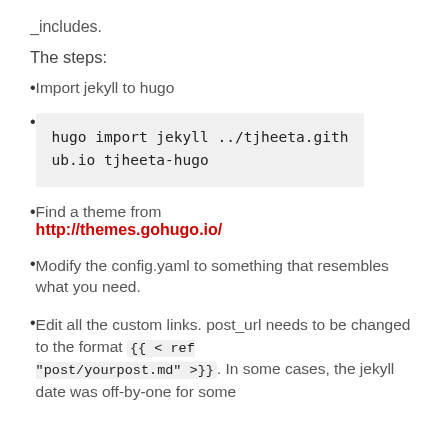_includes.
The steps:
Import jekyll to hugo
hugo import jekyll ../tjheeta.github.io tjheeta-hugo
Find a theme from http://themes.gohugo.io/
Modify the config.yaml to something that resembles what you need.
Edit all the custom links. post_url needs to be changed to the format {{ < ref "post/yourpost.md" >}}. In some cases, the jekyll date was off-by-one for some